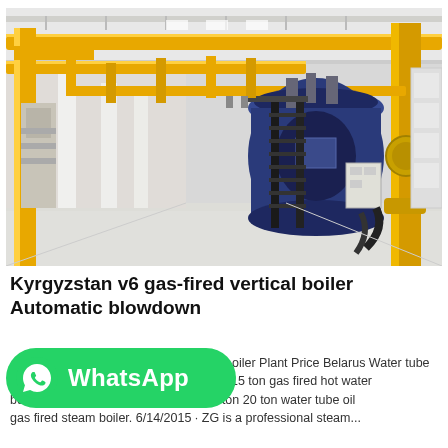[Figure (photo): Industrial boiler room interior with yellow gas pipes, large blue cylindrical boilers, black metal staircases, white structural columns, and white floor — photographed from a wide angle perspective.]
Kyrgyzstan v6 gas-fired vertical boiler Automatic blowdown
[Figure (logo): WhatsApp green rounded rectangle button with white WhatsApp phone icon and white bold text 'WhatsApp']
oiler Plant Price Belarus Water tube boiler 15 ton - kroatien-ferienwohnung . 15 ton gas fired hot water boiler c3 bf CFBC Boiler. Industrial 10 ton 20 ton water tube oil gas fired steam boiler. 6/14/2015 · ZG is a professional steam...